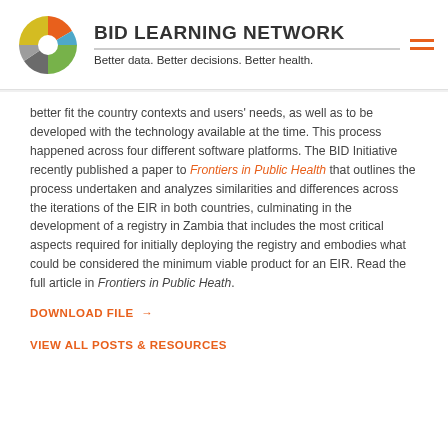BID LEARNING NETWORK — Better data. Better decisions. Better health.
better fit the country contexts and users' needs, as well as to be developed with the technology available at the time. This process happened across four different software platforms. The BID Initiative recently published a paper to Frontiers in Public Health that outlines the process undertaken and analyzes similarities and differences across the iterations of the EIR in both countries, culminating in the development of a registry in Zambia that includes the most critical aspects required for initially deploying the registry and embodies what could be considered the minimum viable product for an EIR. Read the full article in Frontiers in Public Heath.
DOWNLOAD FILE →
VIEW ALL POSTS & RESOURCES